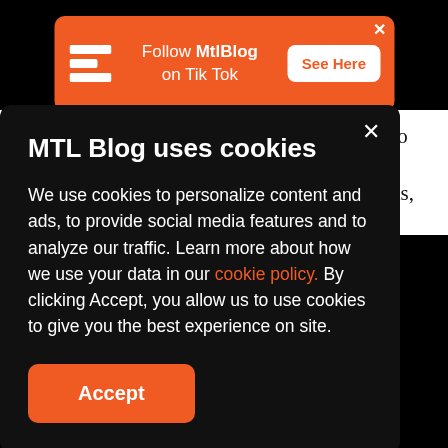[Figure (screenshot): Orange banner ad: Follow MtlBlog on Tik Tok - See Here button with MTL Blog logo]
which makes a lot of sense since it connects so many parts of Montreal, from Laval to Old Montreal. And now, with the new AZUR trains, the Orange Line is even more appealing,
MTL Blog uses cookies
We use cookies to personalize content and ads, to provide social media features and to analyze our traffic. Learn more about how we use your data in our cookie policy. By clicking Accept, you allow us to use cookies to give you the best experience on site.
Accept